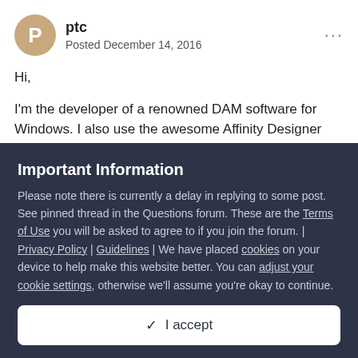ptc
Posted December 14, 2016
Hi,
I'm the developer of a renowned DAM software for Windows. I also use the awesome Affinity Designer personally.
Important Information
Please note there is currently a delay in replying to some post. See pinned thread in the Questions forum. These are the Terms of Use you will be asked to agree to if you join the forum. | Privacy Policy | Guidelines | We have placed cookies on your device to help make this website better. You can adjust your cookie settings, otherwise we'll assume you're okay to continue.
✓ I accept